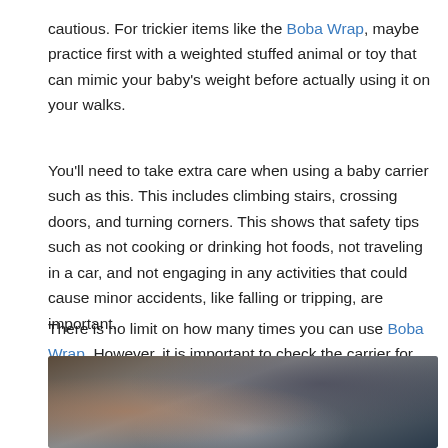cautious. For trickier items like the Boba Wrap, maybe practice first with a weighted stuffed animal or toy that can mimic your baby's weight before actually using it on your walks.
You'll need to take extra care when using a baby carrier such as this. This includes climbing stairs, crossing doors, and turning corners. This shows that safety tips such as not cooking or drinking hot foods, not traveling in a car, and not engaging in any activities that could cause minor accidents, like falling or tripping, are important.
There is no limit on how many times you can use Boba Wrap. However, it is important to check the carrier for frayed seams and damage to the fabric. This could affect the performance of your carrier.
[Figure (photo): Close-up photo of a baby in a carrier wrap, showing fabric and baby's head from above.]